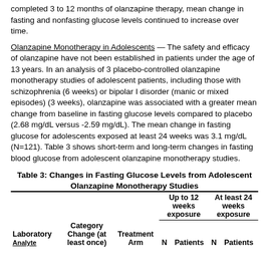completed 3 to 12 months of olanzapine therapy, mean change in fasting and nonfasting glucose levels continued to increase over time.
Olanzapine Monotherapy in Adolescents — The safety and efficacy of olanzapine have not been established in patients under the age of 13 years. In an analysis of 3 placebo-controlled olanzapine monotherapy studies of adolescent patients, including those with schizophrenia (6 weeks) or bipolar I disorder (manic or mixed episodes) (3 weeks), olanzapine was associated with a greater mean change from baseline in fasting glucose levels compared to placebo (2.68 mg/dL versus -2.59 mg/dL). The mean change in fasting glucose for adolescents exposed at least 24 weeks was 3.1 mg/dL (N=121). Table 3 shows short-term and long-term changes in fasting blood glucose from adolescent olanzapine monotherapy studies.
Table 3: Changes in Fasting Glucose Levels from Adolescent Olanzapine Monotherapy Studies
| Laboratory Analyte | Category Change (at least once) | Treatment Arm | N | Patients Up to 12 weeks exposure | N | Patients At least 24 weeks exposure |
| --- | --- | --- | --- | --- | --- | --- |